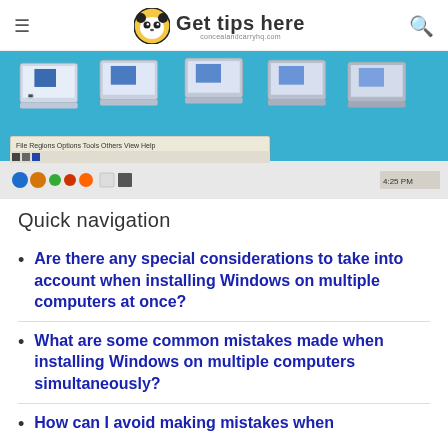Get tips here — concealandcarryhq.com
[Figure (screenshot): Screenshot showing multiple laptop computer icons on a blue background with a Windows taskbar and application toolbar visible at the bottom.]
Quick navigation
Are there any special considerations to take into account when installing Windows on multiple computers at once?
What are some common mistakes made when installing Windows on multiple computers simultaneously?
How can I avoid making mistakes when...